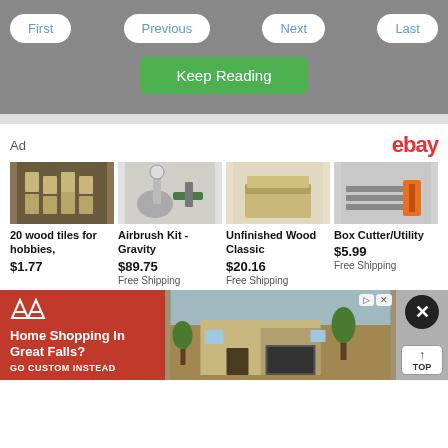[Figure (screenshot): Navigation bar with First, Previous, Next, Last buttons and a green Keep Reading button on a gray background]
[Figure (infographic): eBay advertisement section showing 4 products: 20 wood tiles for hobbies $1.77, Airbrush Kit - Gravity $89.75 Free Shipping, Unfinished Wood Classic $20.16 Free Shipping, Box Cutter/Utility $5.99 Free Shipping]
[Figure (infographic): Home Shopping In Great Falls? Go Custom Instead advertisement with red background and AV logo, alongside a house photo, and a close X button and TOP navigation button on gray background]